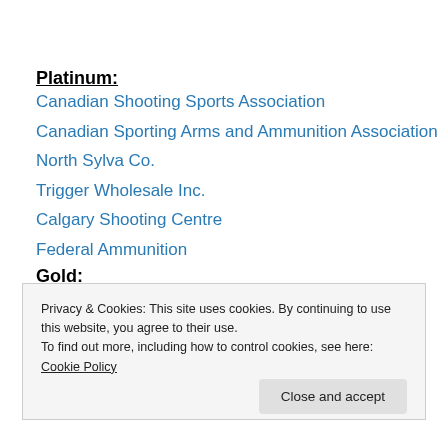Platinum:
Canadian Shooting Sports Association
Canadian Sporting Arms and Ammunition Association
North Sylva Co.
Trigger Wholesale Inc.
Calgary Shooting Centre
Federal Ammunition
Gold:
Privacy & Cookies: This site uses cookies. By continuing to use this website, you agree to their use. To find out more, including how to control cookies, see here: Cookie Policy
Close and accept